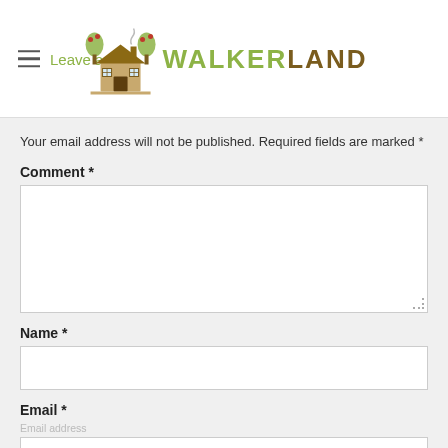Leave a Reply | WALKERLAND
Your email address will not be published. Required fields are marked *
Comment *
Name *
Email *